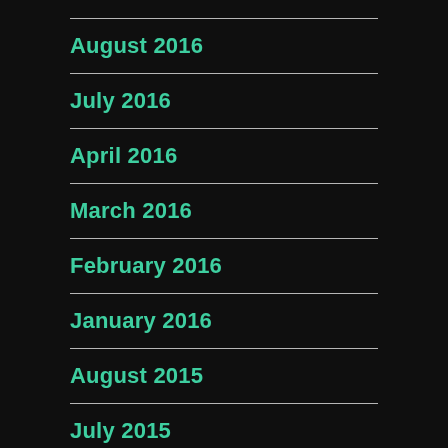August 2016
July 2016
April 2016
March 2016
February 2016
January 2016
August 2015
July 2015